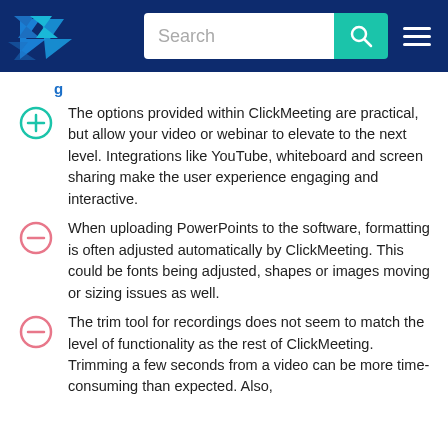TrustRadius — Search bar header
The options provided within ClickMeeting are practical, but allow your video or webinar to elevate to the next level. Integrations like YouTube, whiteboard and screen sharing make the user experience engaging and interactive.
When uploading PowerPoints to the software, formatting is often adjusted automatically by ClickMeeting. This could be fonts being adjusted, shapes or images moving or sizing issues as well.
The trim tool for recordings does not seem to match the level of functionality as the rest of ClickMeeting. Trimming a few seconds from a video can be more time-consuming than expected. Also,